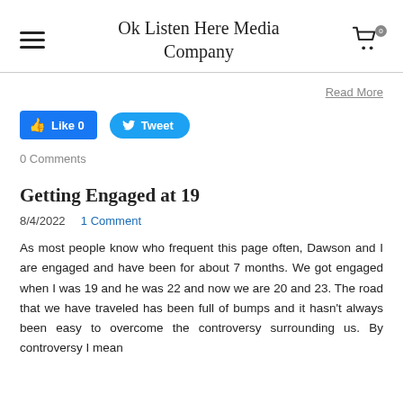Ok Listen Here Media Company
Read More
[Figure (other): Facebook Like button (blue rounded rectangle) with thumbs-up icon and 'Like 0' text, and Twitter Tweet button (blue pill-shaped) with bird icon and 'Tweet' text]
0 Comments
Getting Engaged at 19
8/4/2022  1 Comment
As most people know who frequent this page often, Dawson and I are engaged and have been for about 7 months. We got engaged when I was 19 and he was 22 and now we are 20 and 23. The road that we have traveled has been full of bumps and it hasn't always been easy to overcome the controversy surrounding us. By controversy I mean